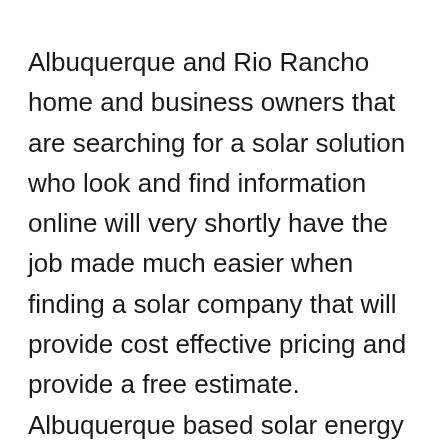Albuquerque and Rio Rancho home and business owners that are searching for a solar solution who look and find information online will very shortly have the job made much easier when finding a solar company that will provide cost effective pricing and provide a free estimate. Albuquerque based solar energy installer company NM Solar Group has launched a brand new website and complete online advertising campaign in partnership with long time and cost effective marketing professionals 505 Internet Marketing. The main objective of this campaign is to be able to reach more prospective